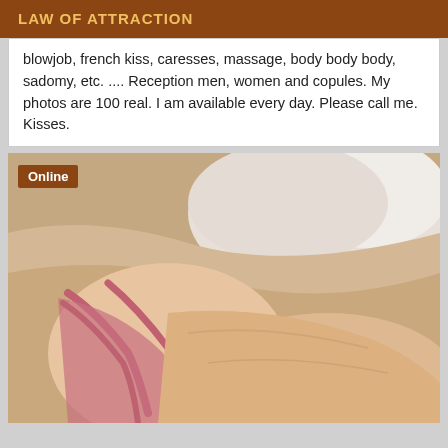LAW OF ATTRACTION
blowjob, french kiss, caresses, massage, body body body, sadomy, etc. .... Reception men, women and copules. My photos are 100 real. I am available every day. Please call me. Kisses.
[Figure (photo): Person lying on a bed wearing pink lingerie, with white pillows and bedding visible. An 'Online' badge is shown in the top-left corner of the image.]